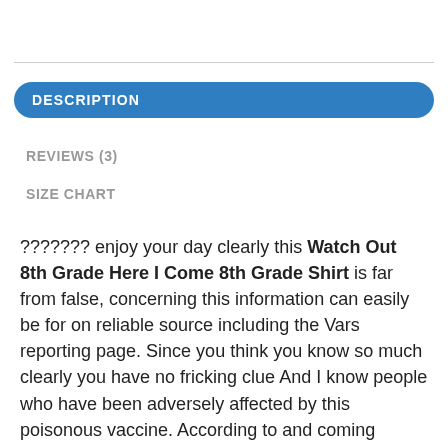DESCRIPTION
REVIEWS (3)
SIZE CHART
??????? enjoy your day clearly this Watch Out 8th Grade Here I Come 8th Grade Shirt is far from false, concerning this information can easily be for on reliable source including the Vars reporting page. Since you think you know so much clearly you have no fricking clue And I know people who have been adversely affected by this poisonous vaccine. According to and coming directly from CDC officials the test must be sent to them and it takes 30 days to find out the variant that you have if you are positive.